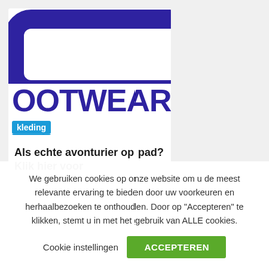[Figure (logo): Partial logo showing a dark purple/indigo rounded rectangle outline (like a pill/capsule border) on white background — top portion of a footwear/clothing brand logo]
OOTWEAR
kleding
Als echte avonturier op pad? Klik hier voor
We gebruiken cookies op onze website om u de meest relevante ervaring te bieden door uw voorkeuren en herhaalbezoeken te onthouden. Door op "Accepteren" te klikken, stemt u in met het gebruik van ALLE cookies.
Cookie instellingen   ACCEPTEREN